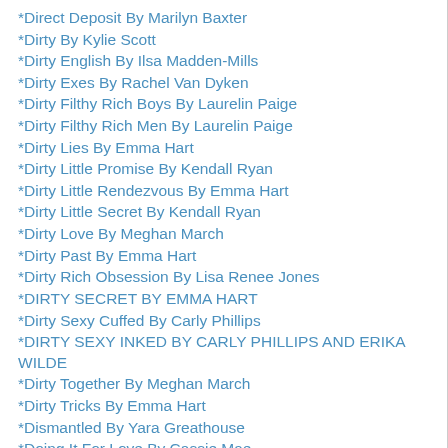*Direct Deposit By Marilyn Baxter
*Dirty By Kylie Scott
*Dirty English By Ilsa Madden-Mills
*Dirty Exes By Rachel Van Dyken
*Dirty Filthy Rich Boys By Laurelin Paige
*Dirty Filthy Rich Men By Laurelin Paige
*Dirty Lies By Emma Hart
*Dirty Little Promise By Kendall Ryan
*Dirty Little Rendezvous By Emma Hart
*Dirty Little Secret By Kendall Ryan
*Dirty Love By Meghan March
*Dirty Past By Emma Hart
*Dirty Rich Obsession By Lisa Renee Jones
*DIRTY SECRET BY EMMA HART
*Dirty Sexy Cuffed By Carly Phillips
*DIRTY SEXY INKED BY CARLY PHILLIPS AND ERIKA WILDE
*Dirty Together By Meghan March
*Dirty Tricks By Emma Hart
*Dismantled By Yara Greathouse
*Doing It For Love By Cassie Mae
*Dolce By Rachel Blaufeld
*Don't Forget Me By Rachel Forsythe (partial)